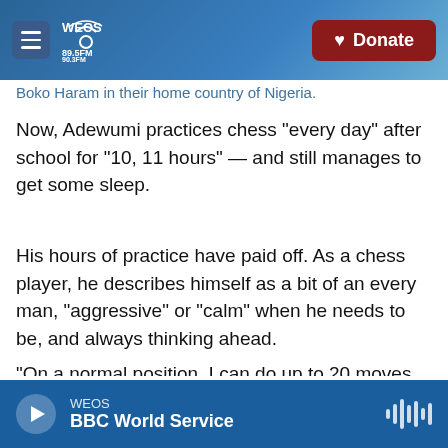WEOS 89.5FM 90.3FM — Donate
Boko Haram in their home country of Nigeria.
Now, Adewumi practices chess "every day" after school for "10, 11 hours" — and still manages to get some sleep.
His hours of practice have paid off. As a chess player, he describes himself as a bit of an every man, "aggressive" or "calm" when he needs to be, and always thinking ahead.
"On a normal position, I can do up to 20 moves [in advance]", he says. Keeping all of the pieces straight in his head might seem like a challenge but
WEOS — BBC World Service